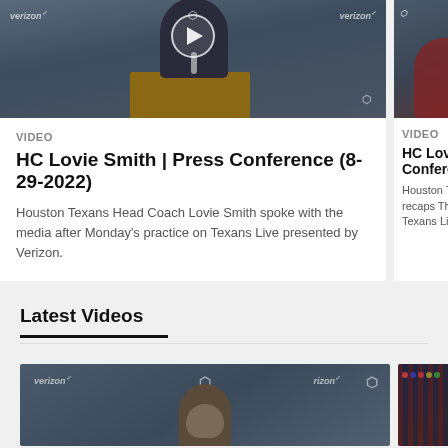[Figure (screenshot): Houston Texans press conference video thumbnail showing person at podium with Verizon and Texans logos, with play button overlay]
VIDEO
HC Lovie Smith | Press Conference (8-29-2022)
Houston Texans Head Coach Lovie Smith spoke with the media after Monday's practice on Texans Live presented by Verizon.
[Figure (screenshot): Partially visible second Houston Texans press conference video thumbnail with person in red]
VIDEO
HC Lovie Conferen
Houston Texa recaps Thurso Texans Live p
Latest Videos
[Figure (screenshot): Bottom left video thumbnail showing Lovie Smith at podium with Verizon and Texans logos]
[Figure (screenshot): Bottom right video thumbnail showing crowd/audience scene]